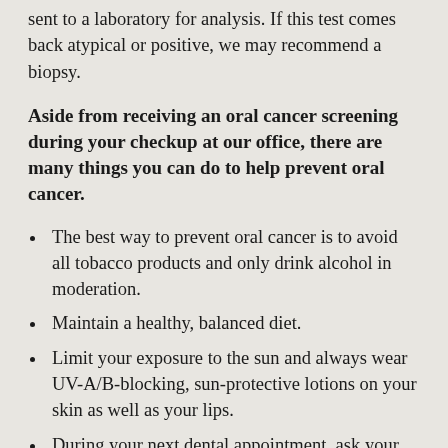sent to a laboratory for analysis. If this test comes back atypical or positive, we may recommend a biopsy.
Aside from receiving an oral cancer screening during your checkup at our office, there are many things you can do to help prevent oral cancer.
The best way to prevent oral cancer is to avoid all tobacco products and only drink alcohol in moderation.
Maintain a healthy, balanced diet.
Limit your exposure to the sun and always wear UV-A/B-blocking, sun-protective lotions on your skin as well as your lips.
During your next dental appointment, ask your dentist to perform an oral exam. Early detection of oral cancer can improve the chance of successful